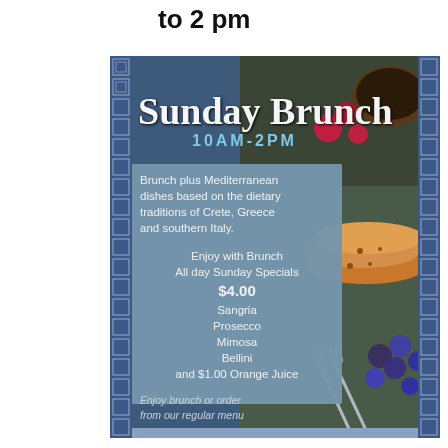to 2 pm
[Figure (infographic): Sunday Brunch promotional flyer with Greek key border pattern, food photography showing pancakes, berries, and silverware on dark background. Contains text about Sunday Brunch 10AM-2PM, Mediterranean dishes, and drink specials.]
Sunday Brunch
10AM-2PM
Brunch plus Mediterranean dishes based on the dietary traditions of Crete, Greece and southern Italy.
Enjoy with Brunch
All day Sunday Specials
$4.00
Sangria
Prosecco
Mimosa
Bellini
and $1.00 Orange Juice
Enjoy brunch or order from our regular menu